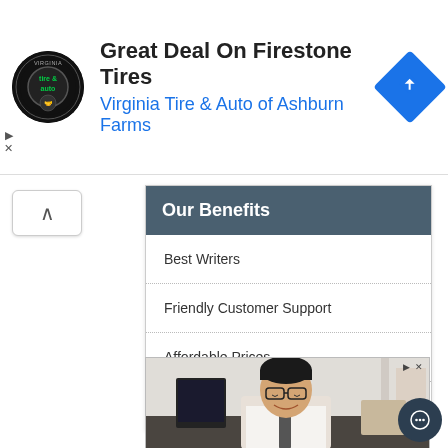[Figure (screenshot): Advertisement banner for Virginia Tire & Auto of Ashburn Farms with logo, headline 'Great Deal On Firestone Tires', blue subtitle, and navigation icon]
[Figure (screenshot): Collapse/expand chevron button on left side]
Our Benefits
Best Writers
Friendly Customer Support
Affordable Prices
Convenient Delivery Options
[Figure (photo): Photo of a smiling young Asian man in glasses and white shirt with tie, sitting at a desk with a computer monitor]